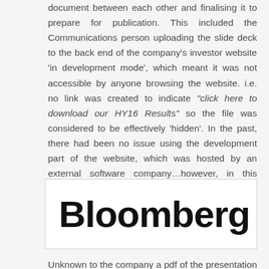document between each other and finalising it to prepare for publication. This included the Communications person uploading the slide deck to the back end of the company's investor website 'in development mode', which meant it was not accessible by anyone browsing the website. i.e. no link was created to indicate "click here to download our HY16 Results" so the file was considered to be effectively 'hidden'. In the past, there had been no issue using the development part of the website, which was hosted by an external software company…however, in this instance this approach exposed a significant risk.
[Figure (logo): Bloomberg logo in bold black text on white background]
Unknown to the company a pdf of the presentation was